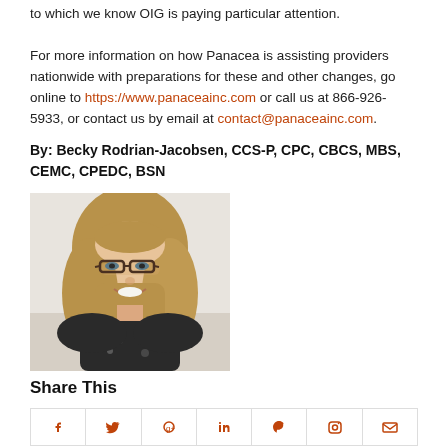to which we know OIG is paying particular attention.

For more information on how Panacea is assisting providers nationwide with preparations for these and other changes, go online to https://www.panaceainc.com or call us at 866-926-5933, or contact us by email at contact@panaceainc.com.
By: Becky Rodrian-Jacobsen, CCS-P, CPC, CBCS, MBS, CEMC, CPEDC, BSN
[Figure (photo): Headshot photo of Becky Rodrian-Jacobsen, a woman with long blonde hair and glasses, smiling, wearing a dark floral top.]
Share This
[Figure (infographic): Social media sharing icons row: Facebook, Twitter, Google+, LinkedIn, Pinterest, Instagram, Email]